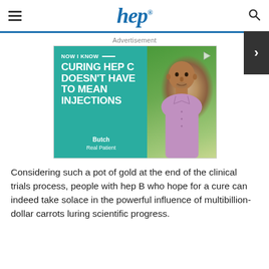hep
[Figure (photo): Advertisement for Hep C medication showing an older bald Black man in a lavender shirt against a green background. Text reads: NOW I KNOW CURING HEP C DOESN'T HAVE TO MEAN INJECTIONS. Butch, Real Patient.]
Considering such a pot of gold at the end of the clinical trials process, people with hep B who hope for a cure can indeed take solace in the powerful influence of multibillion-dollar carrots luring scientific progress.